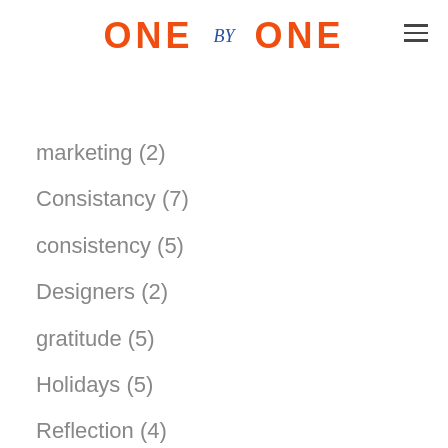ONE by ONE
marketing (2)
Consistancy (7)
consistency (5)
Designers (2)
gratitude (5)
Holidays (5)
Reflection (4)
Pandemic (1)
Change (3)
Travel (1)
Family (1)